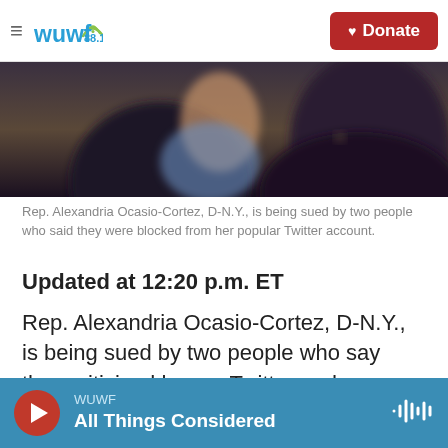WUWF 88.1 — Donate
[Figure (photo): Blurred/cropped photo of a person sitting, likely Rep. Alexandria Ocasio-Cortez in a formal setting]
Rep. Alexandria Ocasio-Cortez, D-N.Y., is being sued by two people who said they were blocked from her popular Twitter account.
Updated at 12:20 p.m. ET
Rep. Alexandria Ocasio-Cortez, D-N.Y., is being sued by two people who say they criticized her on Twitter and were then blocked from her account, which has more than 4.7 million followers.
WUWF — All Things Considered